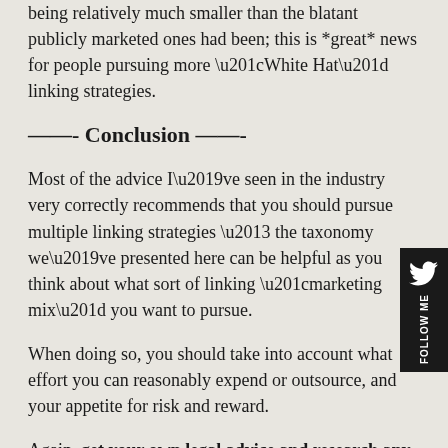being relatively much smaller than the blatant publicly marketed ones had been; this is *great* news for people pursuing more “White Hat” linking strategies.
——- Conclusion ——-
Most of the advice I’ve seen in the industry very correctly recommends that you should pursue multiple linking strategies – the taxonomy we’ve presented here can be helpful as you think about what sort of linking “marketing mix” you want to pursue.
When doing so, you should take into account what effort you can reasonably expend or outsource, and your appetite for risk and reward.
Again, get your own legal advice and research any legal or ethical issues to your satisfaction before